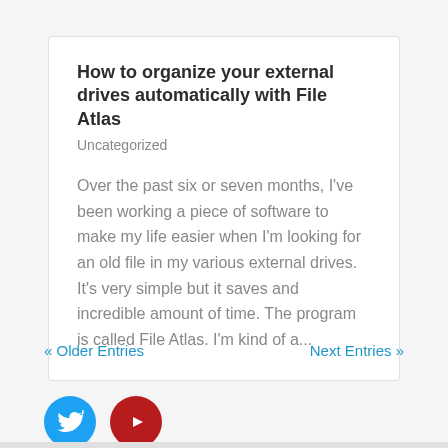How to organize your external drives automatically with File Atlas
Uncategorized
Over the past six or seven months, I've been working a piece of software to make my life easier when I'm looking for an old file in my various external drives. It's very simple but it saves and incredible amount of time. The program is called File Atlas. I'm kind of a...
« Older Entries
Next Entries »
[Figure (illustration): Twitter and YouTube social media icon circles — blue Twitter bird icon and dark red YouTube play button icon]